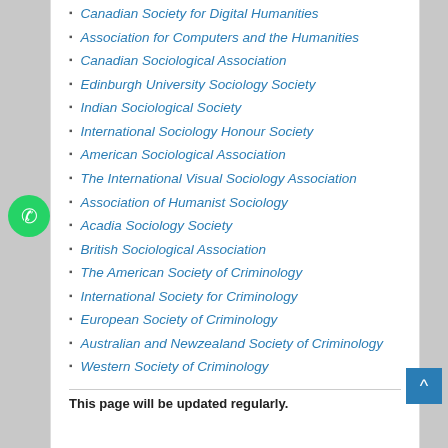Canadian Society for Digital Humanities
Association for Computers and the Humanities
Canadian Sociological Association
Edinburgh University Sociology Society
Indian Sociological Society
International Sociology Honour Society
American Sociological Association
The International Visual Sociology Association
Association of Humanist Sociology
Acadia Sociology Society
British Sociological Association
The American Society of Criminology
International Society for Criminology
European Society of Criminology
Australian and Newzealand Society of Criminology
Western Society of Criminology
This page will be updated regularly.